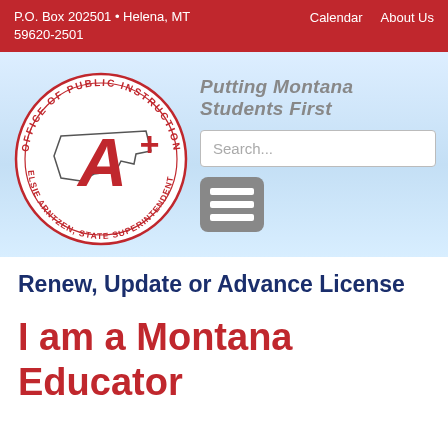P.O. Box 202501 • Helena, MT 59620-2501    Calendar   About Us
[Figure (logo): Office of Public Instruction seal with A+ grade, Elsie Arntzen State Superintendent, Montana outline]
Putting Montana Students First
Search...
[Figure (other): Hamburger menu icon (three horizontal lines on gray rounded rectangle background)]
Renew, Update or Advance License
I am a Montana Educator and want to renew